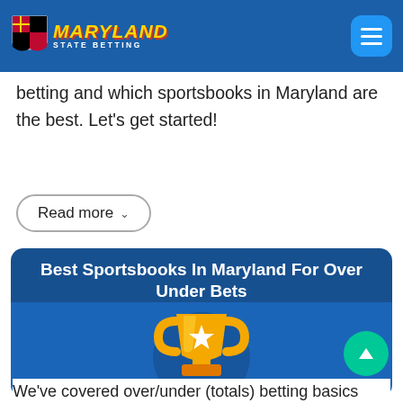Maryland State Betting
betting and which sportsbooks in Maryland are the best. Let's get started!
Read more ˅
Best Sportsbooks In Maryland For Over Under Bets
[Figure (illustration): Golden trophy cup with a white star, on a blue circular background with a dark blue shadow]
We've covered over/under (totals) betting basics